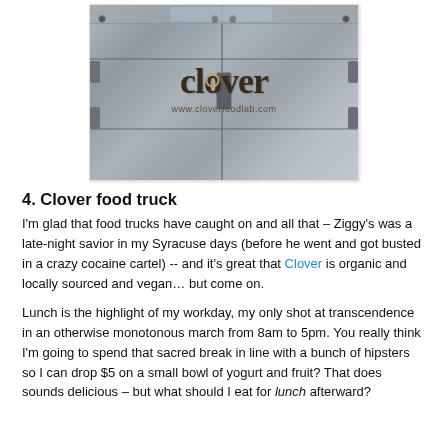[Figure (photo): Photo of the back doors of a Clover food truck. The metallic silver doors have the word 'clover' in large dark brown serif lettering with a target/crosshair symbol inside the 'o'. Below the logo is the URL www.cloverfoodlab.com. The doors show hinges and hardware.]
4. Clover food truck
I'm glad that food trucks have caught on and all that – Ziggy's was a late-night savior in my Syracuse days (before he went and got busted in a crazy cocaine cartel) -- and it's great that Clover is organic and locally sourced and vegan… but come on.
Lunch is the highlight of my workday, my only shot at transcendence in an otherwise monotonous march from 8am to 5pm. You really think I'm going to spend that sacred break in line with a bunch of hipsters so I can drop $5 on a small bowl of yogurt and fruit? That does sounds delicious – but what should I eat for lunch afterward?